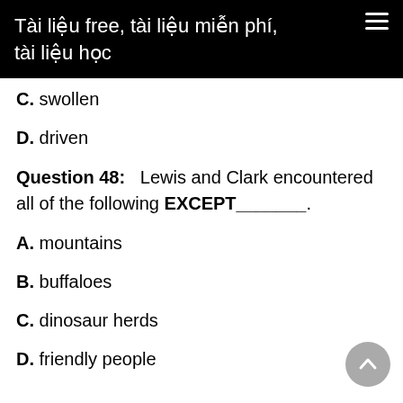Tài liệu free, tài liệu miễn phí, tài liệu học
C. swollen
D. driven
Question 48:   Lewis and Clark encountered all of the following EXCEPT_______.
A. mountains
B. buffaloes
C. dinosaur herds
D. friendly people